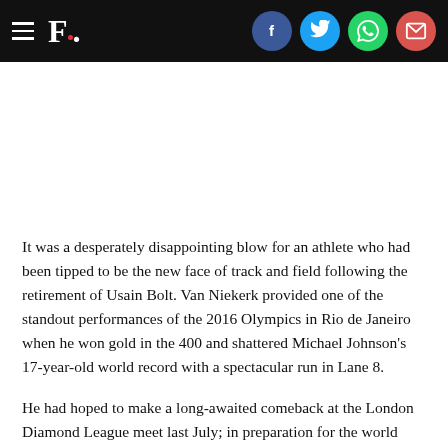F. [social icons: Facebook, Twitter, WhatsApp, Email]
It was a desperately disappointing blow for an athlete who had been tipped to be the new face of track and field following the retirement of Usain Bolt. Van Niekerk provided one of the standout performances of the 2016 Olympics in Rio de Janeiro when he won gold in the 400 and shattered Michael Johnson's 17-year-old world record with a spectacular run in Lane 8.
He had hoped to make a long-awaited comeback at the London Diamond League meet last July; in preparation for the world